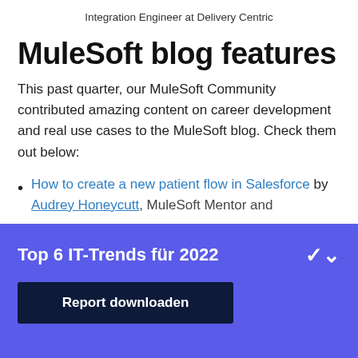Integration Engineer at Delivery Centric
MuleSoft blog features
This past quarter, our MuleSoft Community contributed amazing content on career development and real use cases to the MuleSoft blog. Check them out below:
How to create a new patient flow in Salesforce by Audrey Honeycutt, MuleSoft Mentor and
Top 6 IT-Trends für 2022
Report downloaden